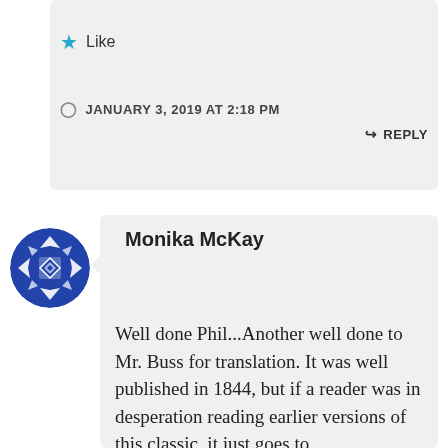Like
JANUARY 3, 2019 AT 2:18 PM
REPLY
Monika McKay
Well done Phil...Another well done to Mr. Buss for translation. It was well published in 1844, but if a reader was in desperation reading earlier versions of this classic, it just goes to